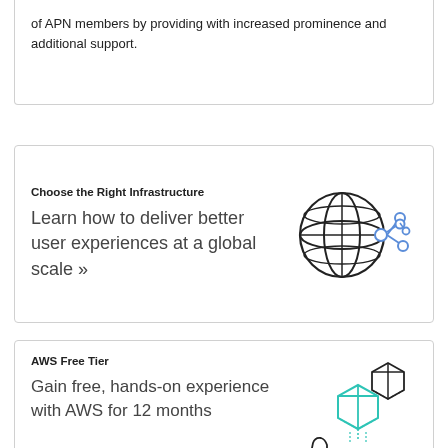of APN members by providing with increased prominence and additional support.
Choose the Right Infrastructure
Learn how to deliver better user experiences at a global scale »
[Figure (illustration): Globe with network nodes connected by lines, drawn in dark outline with blue accent nodes and connectors]
AWS Free Tier
Gain free, hands-on experience with AWS for 12 months
[Figure (illustration): Hand holding cubes falling from above, with teal/turquoise colored center cube and dark outline cubes, representing cloud free tier services]